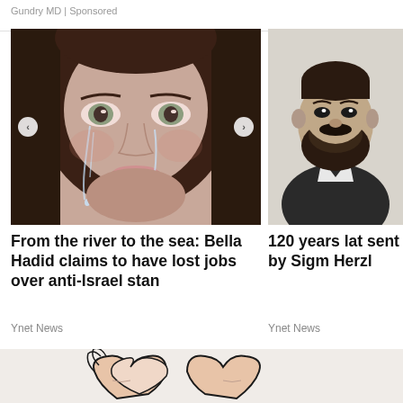Gundry MD | Sponsored
[Figure (photo): Close-up photo of a woman (Bella Hadid) with tears on her face, looking directly at camera, with brown hair, navigation arrows on left and right sides]
[Figure (photo): Black and white historical portrait photo of a bearded man in formal attire (Theodor Herzl), cropped at right side]
From the river to the sea: Bella Hadid claims to have lost jobs over anti-Israel stan
120 years lat sent by Sigm Herzl
Ynet News
Ynet News
[Figure (illustration): Cartoon/illustration showing stylized hands in a heart shape with linear art style, warm skin tones on white/light background]